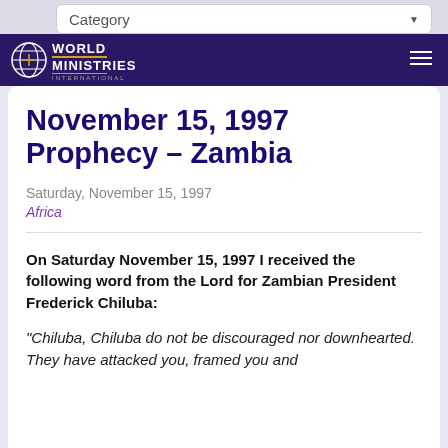Category
[Figure (logo): World Ministries International logo with globe icon, white text on dark purple nav bar]
November 15, 1997 Prophecy – Zambia
Saturday, November 15, 1997
Africa
On Saturday November 15, 1997 I received the following word from the Lord for Zambian President Frederick Chiluba:
"Chiluba, Chiluba do not be discouraged nor downhearted. They have attacked you, framed you and